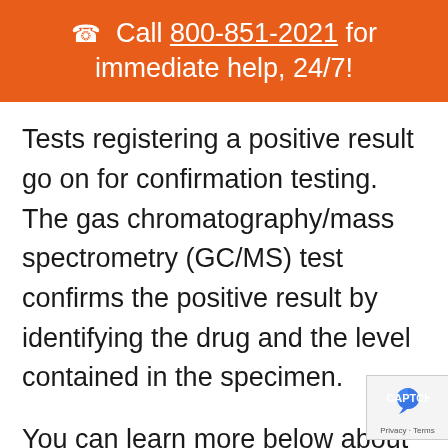☎ Call 800-851-2021 for immediate help, 24/7!
Tests registering a positive result go on for confirmation testing. The gas chromatography/mass spectrometry (GC/MS) test confirms the positive result by identifying the drug and the level contained in the specimen.
You can learn more below about the methods we use for drug testing w...